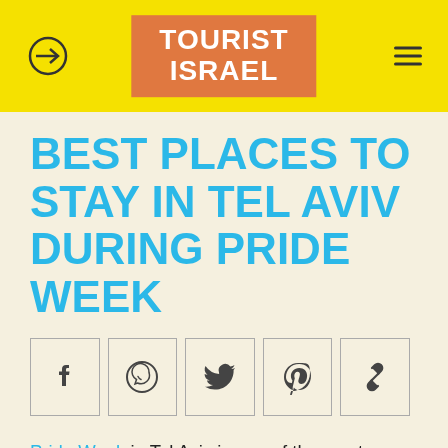TOURIST ISRAEL
BEST PLACES TO STAY IN TEL AVIV DURING PRIDE WEEK
[Figure (other): Row of social sharing icon buttons: Facebook, WhatsApp, Twitter, Pinterest, Link/Copy]
Pride Week in Tel Aviv is one of the most exciting and vibrant times to visit Israel – so naturally, you might wonder: What are the best places to stay in Tel Aviv during Pride Week? The weather in early June is just